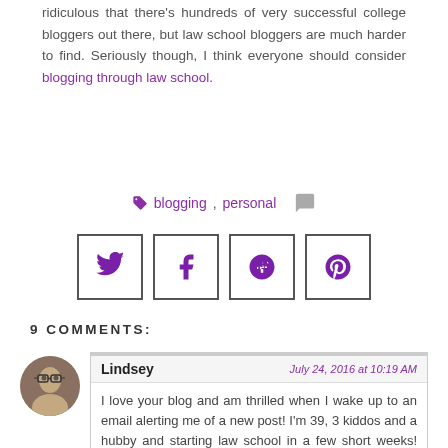ridiculous that there's hundreds of very successful college bloggers out there, but law school bloggers are much harder to find. Seriously though, I think everyone should consider blogging through law school.
blogging, personal
[Figure (infographic): Social media share icons: Twitter, Facebook, Google+, Pinterest in bordered squares]
9 COMMENTS:
Lindsey — July 24, 2016 at 10:19 AM
I love your blog and am thrilled when I wake up to an email alerting me of a new post! I'm 39, 3 kiddos and a hubby and starting law school in a few short weeks! Eek. I finished my undergrad (did it while working full time)